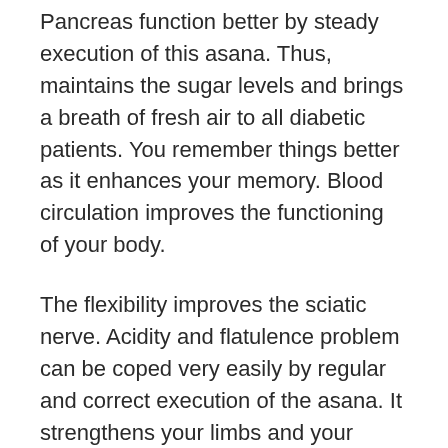Pancreas function better by steady execution of this asana. Thus, maintains the sugar levels and brings a breath of fresh air to all diabetic patients. You remember things better as it enhances your memory. Blood circulation improves the functioning of your body.
The flexibility improves the sciatic nerve. Acidity and flatulence problem can be coped very easily by regular and correct execution of the asana. It strengthens your limbs and your hands which are a great support system of your body. Every muscle of your body gets stretched to its maximum. If you are facing problems with thigh muscles, this asana would provide maximum relief. It tightens the abdominal muscles resulting in toning of your abdomen. It strengthens your back muscles which gives you a steady posture. Your biceps and triceps get toned due